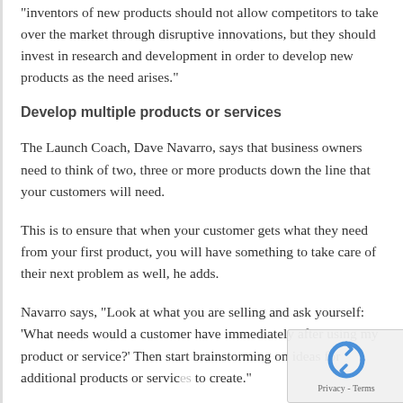inventors of new products should not allow competitors to take over the market through disruptive innovations, but they should invest in research and development in order to develop new products as the need arises."
Develop multiple products or services
The Launch Coach, Dave Navarro, says that business owners need to think of two, three or more products down the line that your customers will need.
This is to ensure that when your customer gets what they need from your first product, you will have something to take care of their next problem as well, he adds.
Navarro says, "Look at what you are selling and ask yourself: 'What needs would a customer have immediately after using my product or service?' Then start brainstorming on ideas for additional products or services to create."